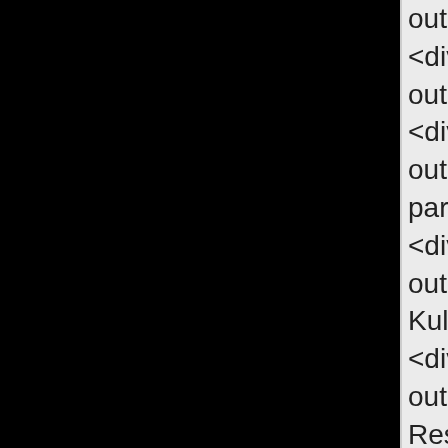[Figure (other): Black rectangular panel on the left side of the page]
outlet.me/s
<div class=
outlet.me/s
<div class=
outlet.me/s
parent">M
<div class=
outlet.me/s
Kulspetspe
<div class=
outlet.me/s
Reservoan
<div class=
outlet.me/s
Rollerball r
</div></div

<div class=
<div class=
id="bestse
<div id="be
<div class=